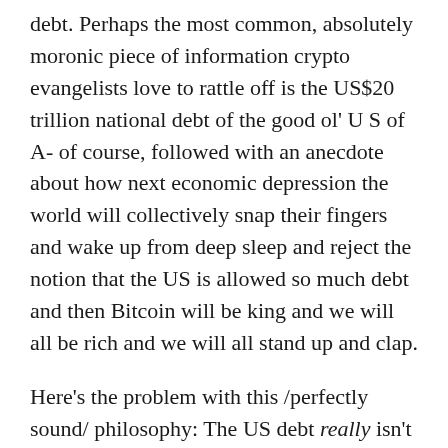debt. Perhaps the most common, absolutely moronic piece of information crypto evangelists love to rattle off is the US$20 trillion national debt of the good ol' U S of A- of course, followed with an anecdote about how next economic depression the world will collectively snap their fingers and wake up from deep sleep and reject the notion that the US is allowed so much debt and then Bitcoin will be king and we will all be rich and we will all stand up and clap.
Here's the problem with this /perfectly sound/ philosophy: The US debt really isn't that big of a problem.